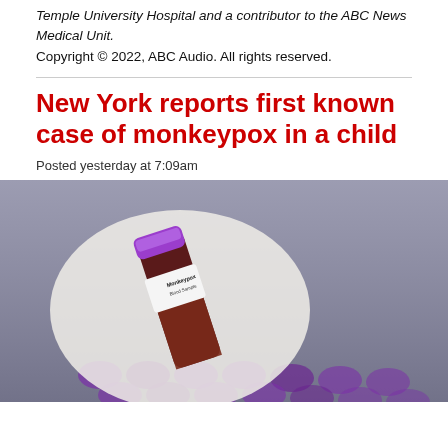Temple University Hospital and a contributor to the ABC News Medical Unit.
Copyright © 2022, ABC Audio. All rights reserved.
New York reports first known case of monkeypox in a child
Posted yesterday at 7:09am
[Figure (photo): A gloved hand holding a blood sample tube labeled 'Monkeypox Blood Sample', with multiple purple-capped blood collection tubes visible in the background.]